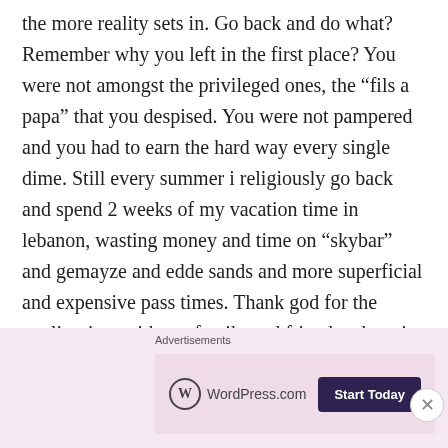the more reality sets in. Go back and do what? Remember why you left in the first place? You were not amongst the privileged ones, the “fils a papa” that you despised. You were not pampered and you had to earn the hard way every single dime. Still every summer i religiously go back and spend 2 weeks of my vacation time in lebanon, wasting money and time on “skybar” and gemayze and edde sands and more superficial and expensive pass times. Thank god for the quality time with my family and friends otherwise I would never go back, what shitty tourism is this tourism that we pretend we
Advertisements
[Figure (other): WordPress.com advertisement banner with logo and 'Start Today' button on a pink/lavender background]